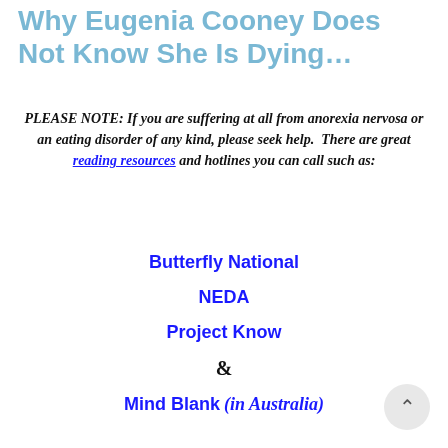Why Eugenia Cooney Does Not Know She Is Dying…
PLEASE NOTE: If you are suffering at all from anorexia nervosa or an eating disorder of any kind, please seek help. There are great reading resources and hotlines you can call such as:
Butterfly National
NEDA
Project Know
&
Mind Blank (in Australia)